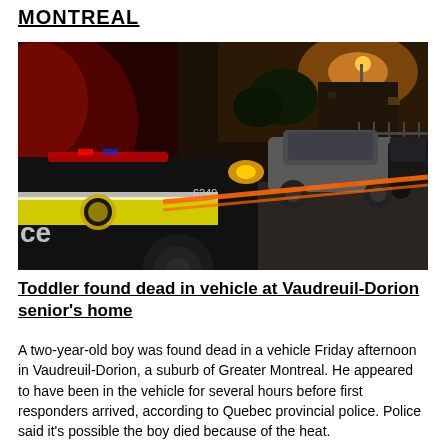MONTREAL
[Figure (photo): Night-time photo of a police car (unit 6249) with yellow flashing light and orange police tape stretched across a parking area. Another car is visible in the background under orange street lighting.]
Toddler found dead in vehicle at Vaudreuil-Dorion senior's home
A two-year-old boy was found dead in a vehicle Friday afternoon in Vaudreuil-Dorion, a suburb of Greater Montreal. He appeared to have been in the vehicle for several hours before first responders arrived, according to Quebec provincial police. Police said it's possible the boy died because of the heat.